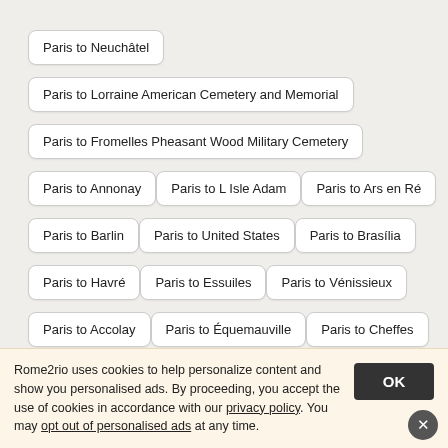Paris to Neuchâtel
Paris to Lorraine American Cemetery and Memorial
Paris to Fromelles Pheasant Wood Military Cemetery
Paris to Annonay
Paris to L Isle Adam
Paris to Ars en Ré
Paris to Barlin
Paris to United States
Paris to Brasília
Paris to Havré
Paris to Essuiles
Paris to Vénissieux
Paris to Accolay
Paris to Équemauville
Paris to Cheffes
Rome2rio uses cookies to help personalize content and show you personalised ads. By proceeding, you accept the use of cookies in accordance with our privacy policy. You may opt out of personalised ads at any time.